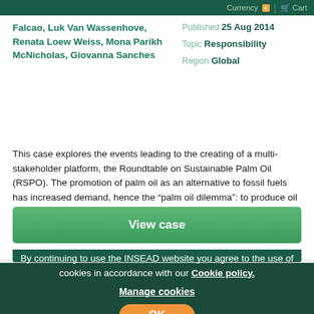Currency | Cart
Falcao, Luk Van Wassenhove, Renata Loew Weiss, Mona Parikh McNicholas, Giovanna Sanches
Published 25 Aug 2014
Topic Responsibility
Region Global
This case explores the events leading to the creating of a multi-stakeholder platform, the Roundtable on Sustainable Palm Oil (RSPO). The promotion of palm oil as an alternative to fossil fuels has increased demand, hence the "palm oil dilemma": to produce oil more sustainably or save the forests?
View case
By continuing to use the INSEAD website you agree to the use of cookies in accordance with our Cookie policy.
Manage cookies
OK